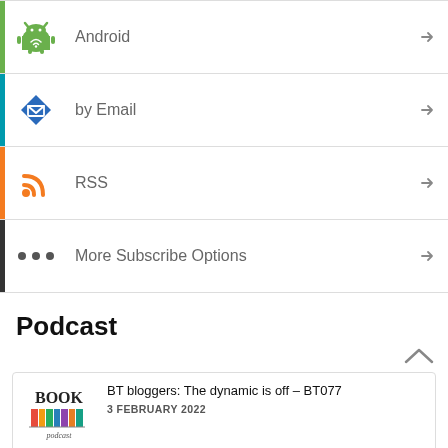Android
by Email
RSS
More Subscribe Options
Podcast
BT bloggers: The dynamic is off – BT077
3 FEBRUARY 2022